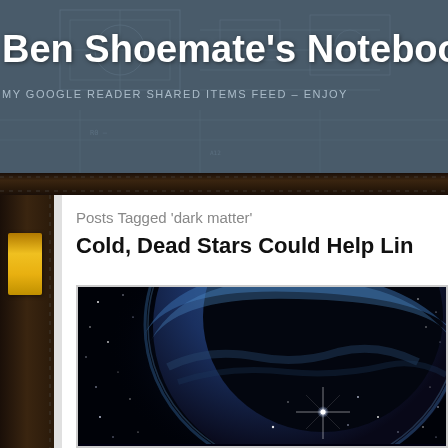Ben Shoemate's Notebook
MY GOOGLE READER SHARED ITEMS FEED – ENJOY
Posts Tagged 'dark matter'
Cold, Dead Stars Could Help Lin
[Figure (photo): Astronomical image of a dark nebula or cosmic body glowing blue against a star-filled black space background, with a bright star visible in the lower center portion of the image.]